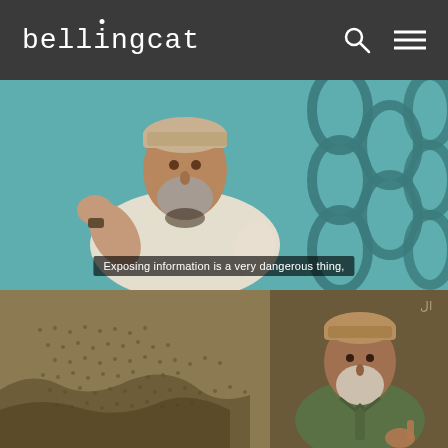bellingcat
[Figure (photo): Top half: Man with grey beard, white robe, and embroidered cap gesturing with his hand against a teal wall with large metal chain links in the background. Subtitle reads: 'Exposing information is a very dangerous thing,']
[Figure (photo): Bottom half: Elderly man with white beard wearing a green jacket and patterned cap, with a dry sandy/rocky terrain and Arabic text visible in the background.]